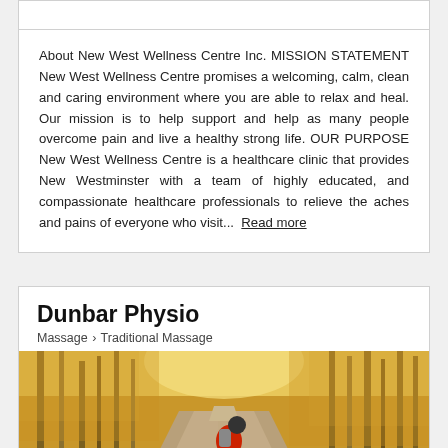About New West Wellness Centre Inc. MISSION STATEMENT New West Wellness Centre promises a welcoming, calm, clean and caring environment where you are able to relax and heal. Our mission is to help support and help as many people overcome pain and live a healthy strong life. OUR PURPOSE New West Wellness Centre is a healthcare clinic that provides New Westminster with a team of highly educated, and compassionate healthcare professionals to relieve the aches and pains of everyone who visit...  Read more
Dunbar Physio
Massage › Traditional Massage
[Figure (photo): Cyclist riding on a dirt road through a forest of golden autumn trees]
205-3540 41st Ave W, Vancouver, British Columbia V6N 3E6